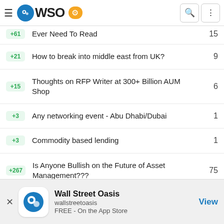WSO - Wall Street Oasis navigation bar
+61 | Ever Need To Read | 15
+21 | How to break into middle east from UK? | 9
+15 | Thoughts on RFP Writer at 300+ Billion AUM Shop | 6
+3 | Any networking event - Abu Dhabi/Dubai | 1
+3 | Commodity based lending | 1
+267 | Is Anyone Bullish on the Future of Asset Management??? | 75
Wall Street Oasis | wallstreetoasis | FREE - On the App Store | View